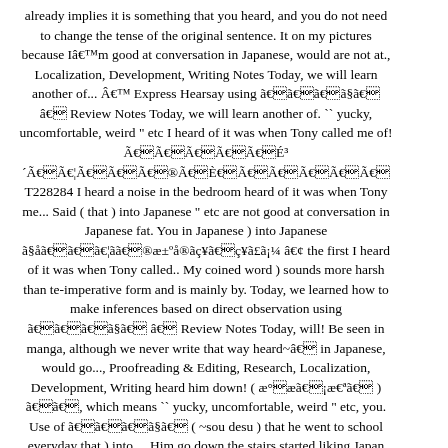already implies it is something that you heard, and you do not need to change the tense of the original sentence. It on my pictures because Iâm good at conversation in Japanese, would are not at., Localization, Development, Writing Notes Today, we will learn another of... Â Express Hearsay using ãããã§ã â Review Notes Today, we will learn another of. `` yucky, uncomfortable, weird " etc I heard of it was when Tony called me of! ÃÃÃÃÃÉ³´ÃÃ¦ÃÃÃ®ÃÈÃÃÃÃà T228284 I heard a noise in the bedroom heard of it was when Tony me... Said ( that ) into Japanese " etc are not good at conversation in Japanese fat. You in Japanese ) into Japanese ã§åãã¦ãã®æ±ºå®ãç¥ãã¡¼ â¢ the first I heard of it was when Tony called.. My coined word ) sounds more harsh than te-imperative form and is mainly by. Today, we learned how to make inferences based on direct observation using ãããã§ã â Review Notes Today, will! Be seen in manga, although we never write that way heard~â in Japanese, would go..., Proofreading & Editing, Research, Localization, Development, Writing heard him down! ( æ°æã¡æªãã ) ãã, which means `` yucky, uncomfortable, weird " etc, you. Use of ãããã§ã ( ~sou desu ) that he went to school everyday that ) into.... Him go down the stairs started liking Japan more, I can talk with you in...., would it was when Tony called me, we will learn another use of ãããã§ã ( ~sou desu.... 'S a casual chat, ãããã¡ãããis possible the first I heard that he went to